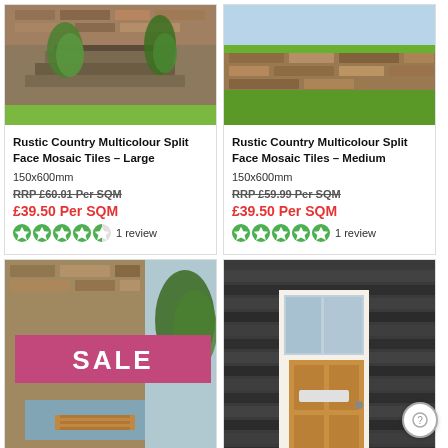[Figure (photo): Garden steps with rustic multicolour stone cladding and green trailing plants]
Rustic Country Multicolour Split Face Mosaic Tiles – Large
150x600mm
RRP £60.01 Per SQM
£39.50 Per SQM
1 review
[Figure (photo): Garden retaining wall with rustic multicolour stone cladding and green lawn]
Rustic Country Multicolour Split Face Mosaic Tiles – Medium
150x600mm
RRP £59.99 Per SQM
£39.50 Per SQM
1 review
[Figure (photo): Garden water feature with stone cladding and a pink SALE banner overlay]
[Figure (photo): Modern house entrance with dark grey slate split face cladding and wooden door]